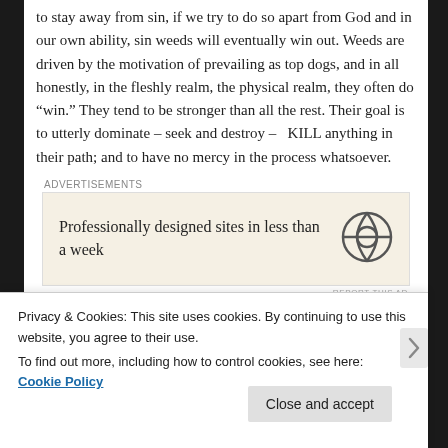to stay away from sin, if we try to do so apart from God and in our own ability, sin weeds will eventually win out. Weeds are driven by the motivation of prevailing as top dogs, and in all honestly, in the fleshly realm, the physical realm, they often do “win.” They tend to be stronger than all the rest. Their goal is to utterly dominate – seek and destroy –  KILL anything in their path; and to have no mercy in the process whatsoever.
[Figure (other): WordPress advertisement banner: 'Professionally designed sites in less than a week' with WordPress logo]
I told you  weeds are mean. And they are ugly. Especially
Privacy & Cookies: This site uses cookies. By continuing to use this website, you agree to their use.
To find out more, including how to control cookies, see here: Cookie Policy